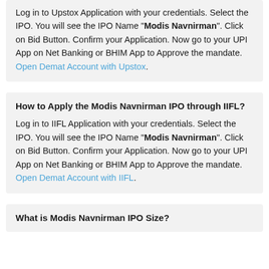Log in to Upstox Application with your credentials. Select the IPO. You will see the IPO Name "Modis Navnirman". Click on Bid Button. Confirm your Application. Now go to your UPI App on Net Banking or BHIM App to Approve the mandate. Open Demat Account with Upstox.
How to Apply the Modis Navnirman IPO through IIFL?
Log in to IIFL Application with your credentials. Select the IPO. You will see the IPO Name "Modis Navnirman". Click on Bid Button. Confirm your Application. Now go to your UPI App on Net Banking or BHIM App to Approve the mandate. Open Demat Account with IIFL.
What is Modis Navnirman IPO Size?